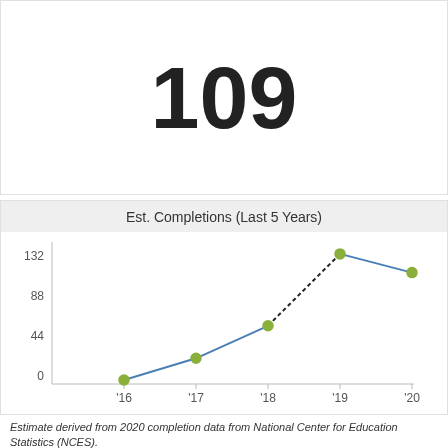109
Est. Completions (Last 5 Years)
[Figure (line-chart): Est. Completions (Last 5 Years)]
Estimate derived from 2020 completion data from National Center for Education Statistics (NCES).